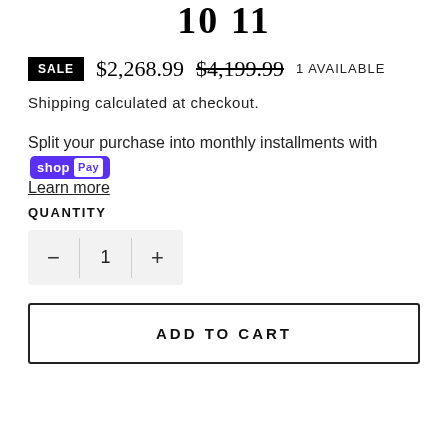10 11
SALE $2,268.99 $4,199.99 1 AVAILABLE
Shipping calculated at checkout.
Split your purchase into monthly installments with shop Pay
Learn more
QUANTITY
− 1 +
ADD TO CART